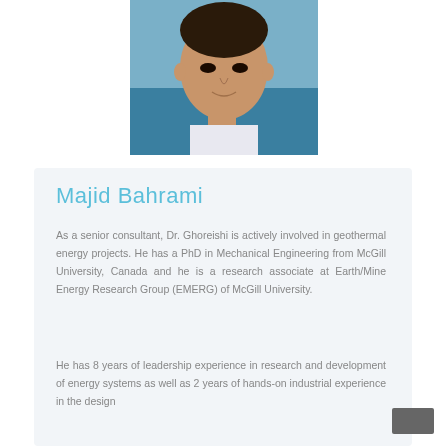[Figure (photo): Headshot photo of a man, cropped at shoulders, light blue background]
Majid Bahrami
As a senior consultant, Dr. Ghoreishi is actively involved in geothermal energy projects. He has a PhD in Mechanical Engineering from McGill University, Canada and he is a research associate at Earth/Mine Energy Research Group (EMERG) of McGill University.
He has 8 years of leadership experience in research and development of energy systems as well as 2 years of hands-on industrial experience in the design